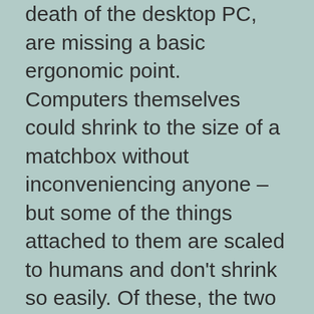death of the desktop PC, are missing a basic ergonomic point. Computers themselves could shrink to the size of a matchbox without inconveniencing anyone – but some of the things attached to them are scaled to humans and don't shrink so easily. Of these, the two most significant are display screens and keyboards.
The kind of tiny display that will fit on a smartphone is just barely usable for browsing the Web, provided you're willing to accept some inconveniences like not having an actual mouse. Tiny keyboards are OK for tiny